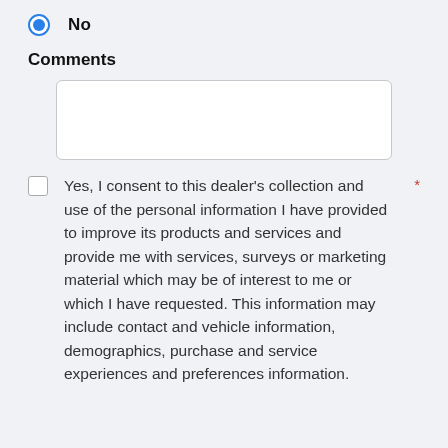No
Comments
Yes, I consent to this dealer's collection and use of the personal information I have provided to improve its products and services and provide me with services, surveys or marketing material which may be of interest to me or which I have requested. This information may include contact and vehicle information, demographics, purchase and service experiences and preferences information.